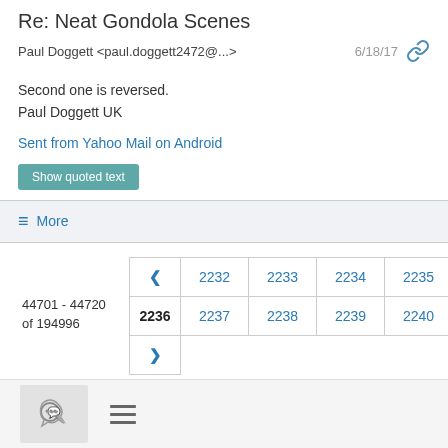Re: Neat Gondola Scenes
Paul Doggett <paul.doggett2472@...>   6/18/17
Second one is reversed.
Paul Doggett UK
Sent from Yahoo Mail on Android
Show quoted text
≡ More
44701 - 44720 of 194996
| < | 2232 | 2233 | 2234 | 2235 |
| 2236 | 2237 | 2238 | 2239 | 2240 |
| > |  |  |  |  |